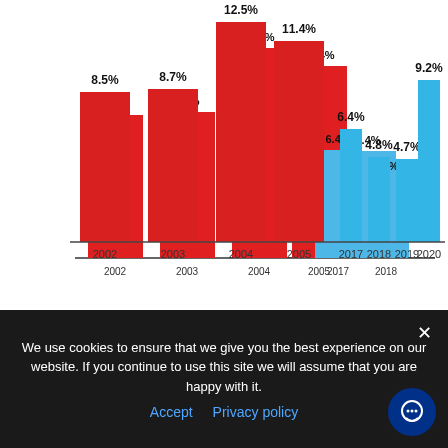[Figure (bar-chart): Home Price Appreciation]
CoreLogic, Black Knight
There's a stark difference between these two periods of time. Normal appreciation is 3.8%. So, while current appreciation is higher than
We use cookies to ensure that we give you the best experience on our website. If you continue to use this site we will assume that you are happy with it.
Accept  Privacy policy